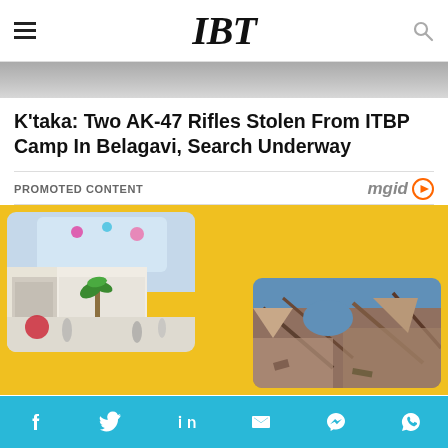IBT
[Figure (photo): Top portion of an article image showing cars/road scene]
K'taka: Two AK-47 Rifles Stolen From ITBP Camp In Belagavi, Search Underway
PROMOTED CONTENT
[Figure (photo): Promoted content area with yellow background showing two images: a shopping mall interior with palm trees, and a bombed/ruined building]
Social share bar with Facebook, Twitter, LinkedIn, Email, Messenger, WhatsApp icons